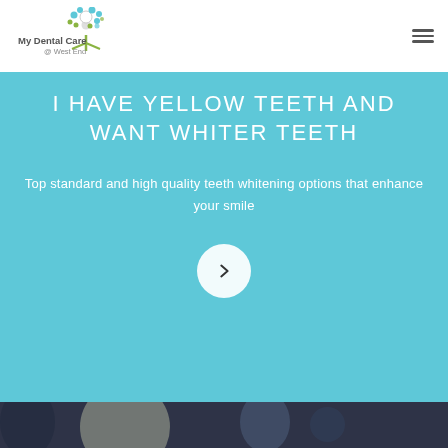[Figure (logo): My Dental Care @ West End logo with colorful dot tree graphic and text]
I HAVE YELLOW TEETH AND WANT WHITER TEETH
Top standard and high quality teeth whitening options that enhance your smile
[Figure (other): Circular white button with right-pointing chevron arrow]
[Figure (other): Dark navy bottom section with decorative oval/circle shapes]